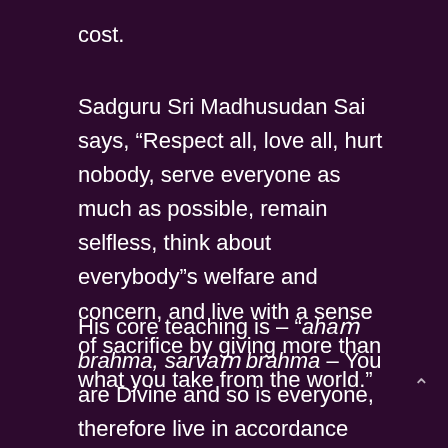cost.
Sadguru Sri Madhusudan Sai says, “Respect all, love all, hurt nobody, serve everyone as much as possible, remain selfless, think about everybody”s welfare and concern, and live with a sense of sacrifice by giving more than what you take from the world.”
His core teaching is – “ahamṁ brahma, sarvamṁ brahma – You are Divine and so is everyone, therefore live in accordance with that truth. Serve and sacrifice for others,